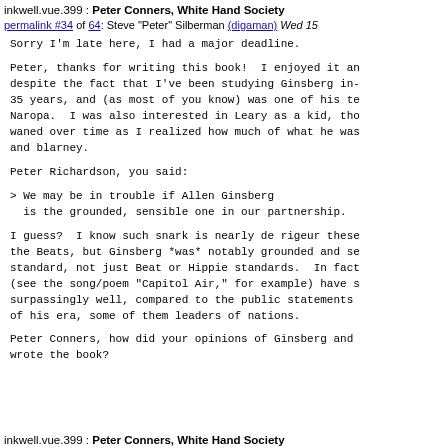inkwell.vue.399 : Peter Conners, White Hand Society
permalink #34 of 64: Steve "Peter" Silberman (digaman) Wed 15
Sorry I'm late here, I had a major deadline.
Peter, thanks for writing this book!  I enjoyed it an despite the fact that I've been studying Ginsberg in- 35 years, and (as most of you know) was one of his te Naropa.  I was also interested in Leary as a kid, tho waned over time as I realized how much of what he was and blarney.
Peter Richardson, you said:
> We may be in trouble if Allen Ginsberg
  is the grounded, sensible one in our partnership.
I guess?  I know such snark is nearly de rigeur these the Beats, but Ginsberg *was* notably grounded and se standard, not just Beat or Hippie standards.  In fact (see the song/poem "Capitol Air," for example) have s surpassingly well, compared to the public statements of his era, some of them leaders of nations.
Peter Conners, how did your opinions of Ginsberg and wrote the book?
inkwell.vue.399 : Peter Conners, White Hand Society